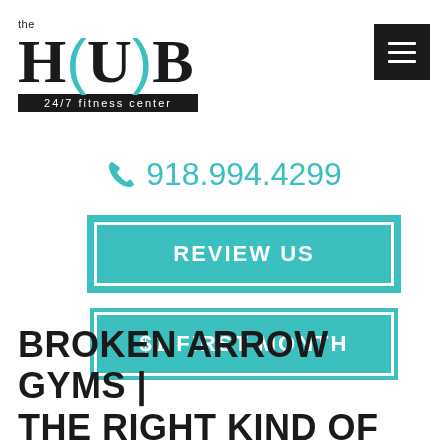[Figure (logo): The HUB 24/7 fitness center logo with teal bracket accents around 'U']
[Figure (other): Dark square hamburger menu button with three white horizontal lines]
918.994.4299
REVIEW US
$1 FIRST MONTH
BROKEN ARROW GYMS | THE RIGHT KIND OF